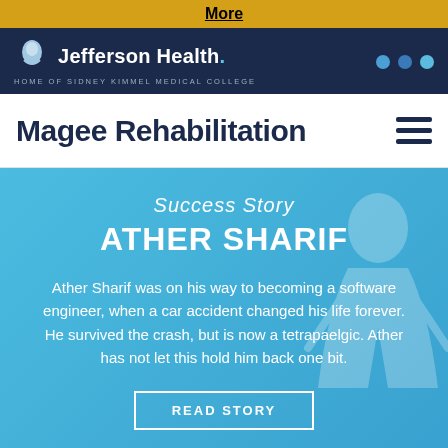More
[Figure (logo): Jefferson Health logo with shield icon and tagline HOME OF SIDNEY KIMMEL MEDICAL COLLEGE on navy background]
Magee Rehabilitation
Success Story
ATHER SHARIF
Ather Sharif was on his way to becoming a software engineer, when a car accident changed his life forever. He survived the crash, but is now a tetrapaelgic. Ather has not let this hold him back one bit.
READ STORY